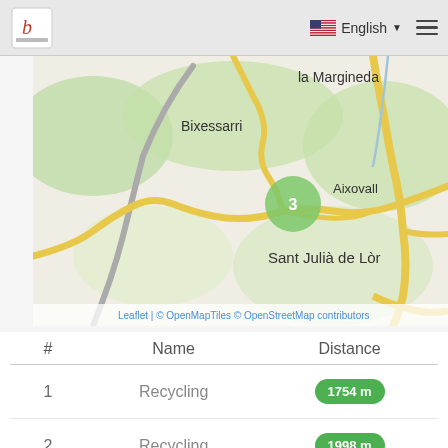b | English ☰
[Figure (map): Street map showing Bixessarri, la Margineda, Aixovall (cluster marker: 3), Sant Julià de Lòr. Map tiles from OpenMapTiles/OpenStreetMap. Yellow roads, green hills, grey roads.]
Leaflet | © OpenMapTiles © OpenStreetMap contributors
| # | Name | Distance |
| --- | --- | --- |
| 1 | Recycling | 1754 m |
| 2 | Recycling | 1998 m |